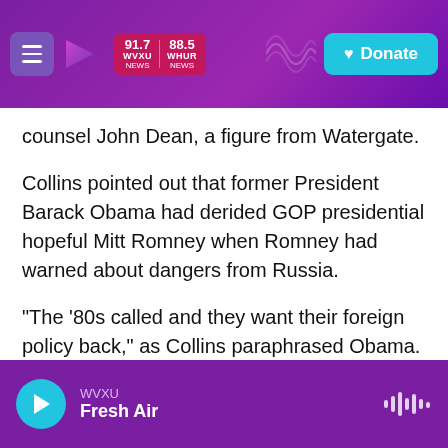WVXU 91.7 NEWS | WHUR 88.5 NEWS | Donate
counsel John Dean, a figure from Watergate.
Collins pointed out that former President Barack Obama had derided GOP presidential hopeful Mitt Romney when Romney had warned about dangers from Russia.
"The '80s called and they want their foreign policy back," as Collins paraphrased Obama. Then for himself, he said of the hearing with Dean: "This committee is now hearing from the '70s — and they want their star witness back."
Nadler's contretemps with the Justice
WVXU | Fresh Air